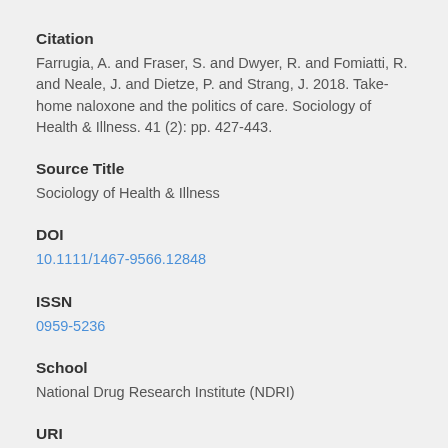Citation
Farrugia, A. and Fraser, S. and Dwyer, R. and Fomiatti, R. and Neale, J. and Dietze, P. and Strang, J. 2018. Take-home naloxone and the politics of care. Sociology of Health & Illness. 41 (2): pp. 427-443.
Source Title
Sociology of Health & Illness
DOI
10.1111/1467-9566.12848
ISSN
0959-5236
School
National Drug Research Institute (NDRI)
URI